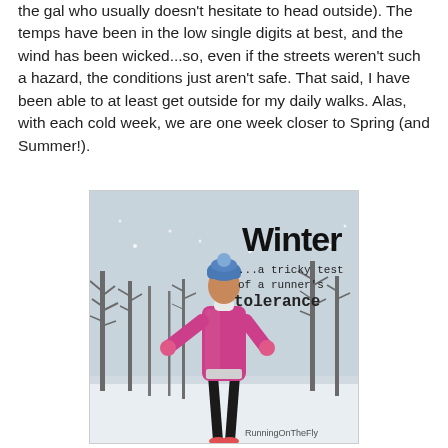the gal who usually doesn't hesitate to head outside). The temps have been in the low single digits at best, and the wind has been wicked...so, even if the streets weren't such a hazard, the conditions just aren't safe. That said, I have been able to at least get outside for my daily walks. Alas, with each cold week, we are one week closer to Spring (and Summer!).
[Figure (photo): A female runner in a pink/magenta puffer jacket, blue hat, black tights, and pink gloves stands looking up toward the sky in a snowy winter park setting with bare trees in the background. Text overlay reads 'Winter ...a tricky test of a runner's tolerance' with watermark 'RunningOnTheFly' at the bottom right.]